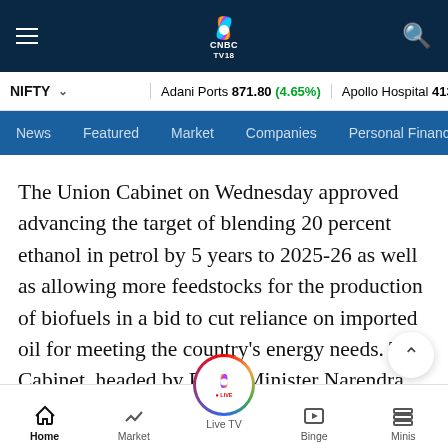[Figure (screenshot): CNBC TV18 logo — peacock feather icon with 'CNBC TV18' text, white on dark navy background]
NIFTY ▾   Adani Ports 871.80 (4.65%)   Apollo Hospital 4135.35 (-3.…)
News   Featured   Market   Companies   Personal Finance
The Union Cabinet on Wednesday approved advancing the target of blending 20 percent ethanol in petrol by 5 years to 2025-26 as well as allowing more feedstocks for the production of biofuels in a bid to cut reliance on imported oil for meeting the country's energy needs. The Cabinet, headed by Prime Minister Narendra Modi,
Home   Market   Live TV   Binge   Minis